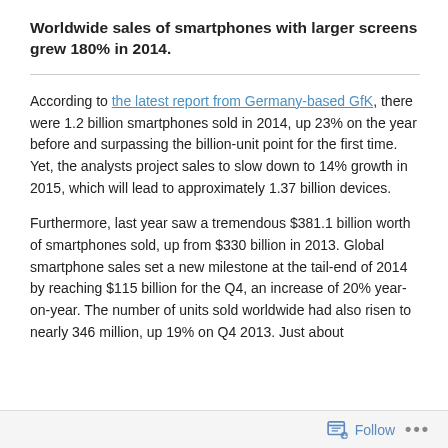Worldwide sales of smartphones with larger screens grew 180% in 2014.
According to the latest report from Germany-based GfK, there were 1.2 billion smartphones sold in 2014, up 23% on the year before and surpassing the billion-unit point for the first time. Yet, the analysts project sales to slow down to 14% growth in 2015, which will lead to approximately 1.37 billion devices.
Furthermore, last year saw a tremendous $381.1 billion worth of smartphones sold, up from $330 billion in 2013. Global smartphone sales set a new milestone at the tail-end of 2014 by reaching $115 billion for the Q4, an increase of 20% year-on-year. The number of units sold worldwide had also risen to nearly 346 million, up 19% on Q4 2013. Just about
Follow ...